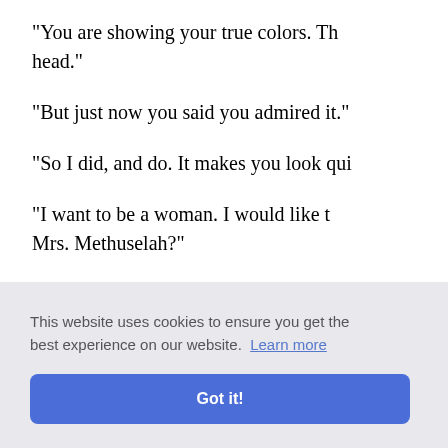"You are showing your true colors. Th... head."
"But just now you said you admired it."
"So I did, and do. It makes you look qui...
"I want to be a woman. I would like t... Mrs. Methuselah?"
"I really forget," replied Richard, consi... had time enough to have several. I be... domestic affairs."
...ter think...
...e," remar... venty or...
own age. I shouldn't want you to be sev...
This website uses cookies to ensure you get the best experience on our website. Learn more
Got it!